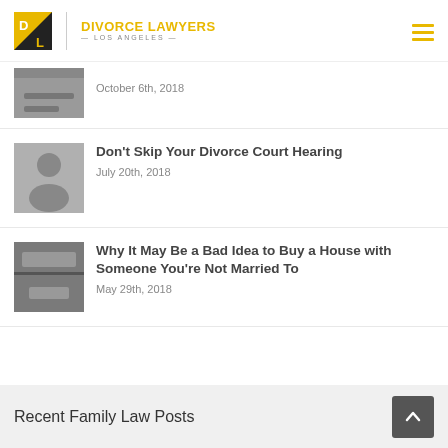DIVORCE LAWYERS LOS ANGELES
October 6th, 2018
Don't Skip Your Divorce Court Hearing
July 20th, 2018
Why It May Be a Bad Idea to Buy a House with Someone You're Not Married To
May 29th, 2018
Recent Family Law Posts
Recent Family Law Posts